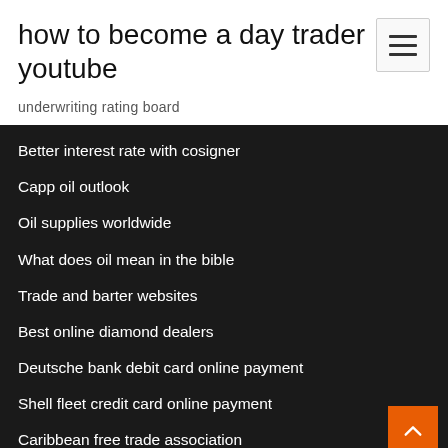how to become a day trader youtube
underwriting rating board
Better interest rate with cosigner
Capp oil outlook
Oil supplies worldwide
What does oil mean in the bible
Trade and barter websites
Best online diamond dealers
Deutsche bank debit card online payment
Shell fleet credit card online payment
Caribbean free trade association